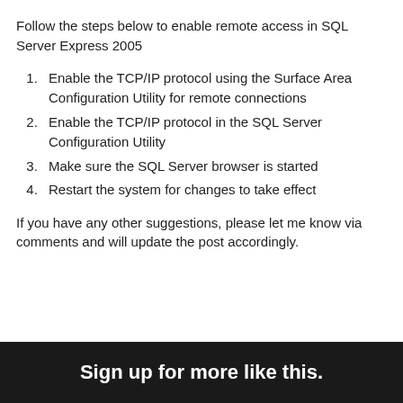Follow the steps below to enable remote access in SQL Server Express 2005
Enable the TCP/IP protocol using the Surface Area Configuration Utility for remote connections
Enable the TCP/IP protocol in the SQL Server Configuration Utility
Make sure the SQL Server browser is started
Restart the system for changes to take effect
If you have any other suggestions, please let me know via comments and will update the post accordingly.
Sign up for more like this.